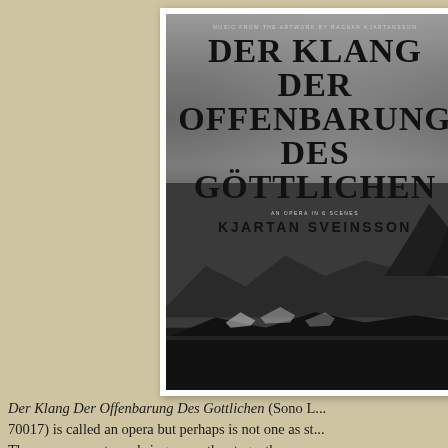[Figure (photo): Album cover for 'Der Klang Der Offenbarung Des Göttlichen' by Kjartan Sveinsson. Shows large bold serif text against a moody dark photographic landscape background of mountains and sea. Text reads: MUSIC FROM THE ARTWORK BY RAGNAR KJARTANSSON, DER KLANG DER OFFENBARUNG DES GÖTTLICHEN, an opera in 6 scenes, KJARTAN SVEINSSON.]
Der Klang Der Offenbarung Des Gottlichen (Sono L... 70017) is called an opera but perhaps is not one as st... There are no costumed singers on the stage, there are... series of painted sets depicting German Romantic cli...